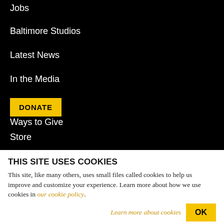Jobs
Baltimore Studios
Latest News
In the Media
DONATE
Ways to Give
Store
THIS SITE USES COOKIES
This site, like many others, uses small files called cookies to help us improve and customize your experience. Learn more about how we use cookies in our cookie policy.
Learn more about cookies
OK